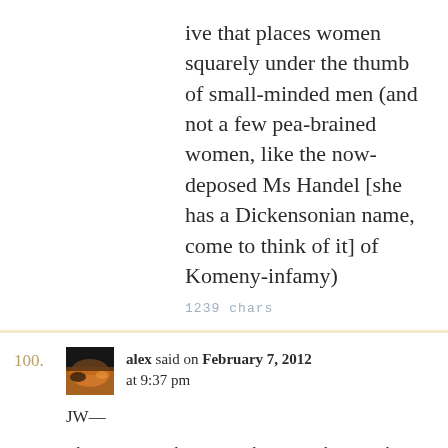ive that places women squarely under the thumb of small-minded men (and not a few pea-brained women, like the now-deposed Ms Handel [she has a Dickensonian name, come to think of it] of Komeny-infamy)
1239 chars
100.
alex said on February 7, 2012 at 9:37 pm
JW—
That pretty much sums up that rag and some others around here. When news releases from James Dobson are in